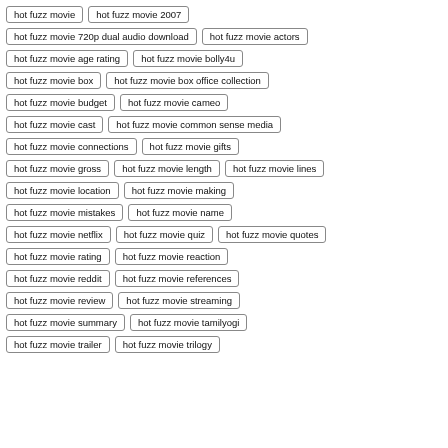hot fuzz movie
hot fuzz movie 2007
hot fuzz movie 720p dual audio download
hot fuzz movie actors
hot fuzz movie age rating
hot fuzz movie bolly4u
hot fuzz movie box
hot fuzz movie box office collection
hot fuzz movie budget
hot fuzz movie cameo
hot fuzz movie cast
hot fuzz movie common sense media
hot fuzz movie connections
hot fuzz movie gifts
hot fuzz movie gross
hot fuzz movie length
hot fuzz movie lines
hot fuzz movie location
hot fuzz movie making
hot fuzz movie mistakes
hot fuzz movie name
hot fuzz movie netflix
hot fuzz movie quiz
hot fuzz movie quotes
hot fuzz movie rating
hot fuzz movie reaction
hot fuzz movie reddit
hot fuzz movie references
hot fuzz movie review
hot fuzz movie streaming
hot fuzz movie summary
hot fuzz movie tamilyogi
hot fuzz movie trailer
hot fuzz movie trilogy